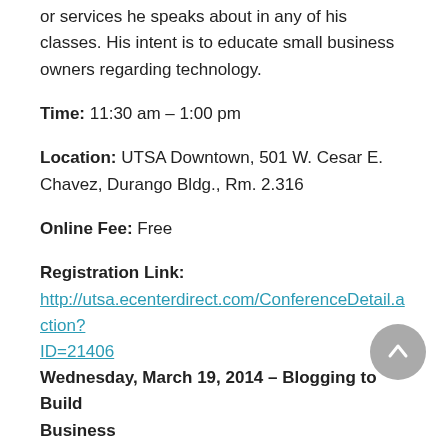or services he speaks about in any of his classes. His intent is to educate small business owners regarding technology.
Time: 11:30 am – 1:00 pm
Location: UTSA Downtown, 501 W. Cesar E. Chavez, Durango Bldg., Rm. 2.316
Online Fee:  Free
Registration Link:
http://utsa.ecenterdirect.com/ConferenceDetail.action?ID=21406
Wednesday, March 19, 2014 – Blogging to Build Business